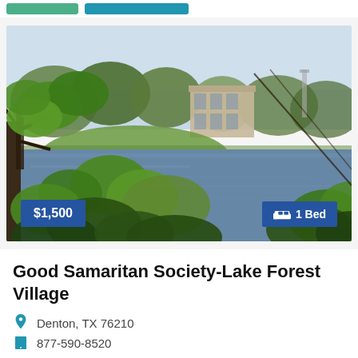[Figure (photo): Outdoor scenic photo of a lake with green trees and a multi-story building in the background, taken from a vantage point among leafy branches in the foreground. Price badge '$1,500' on lower left and '1 Bed' badge on lower right.]
Good Samaritan Society-Lake Forest Village
Denton, TX 76210
877-590-8520